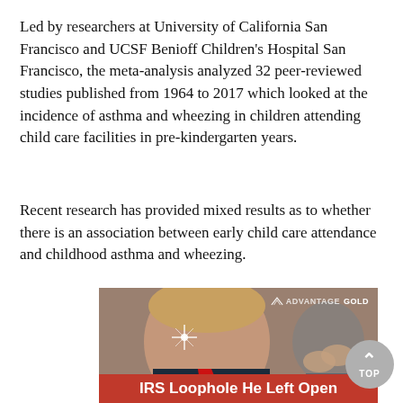Led by researchers at University of California San Francisco and UCSF Benioff Children's Hospital San Francisco, the meta-analysis analyzed 32 peer-reviewed studies published from 1964 to 2017 which looked at the incidence of asthma and wheezing in children attending child care facilities in pre-kindergarten years.
Recent research has provided mixed results as to whether there is an association between early child care attendance and childhood asthma and wheezing.
[Figure (photo): Advertisement photo showing a person in a suit with a red tie smiling, with an Advantage Gold logo watermark in the top right corner and a red banner at the bottom reading 'IRS Loophole He Left Open']